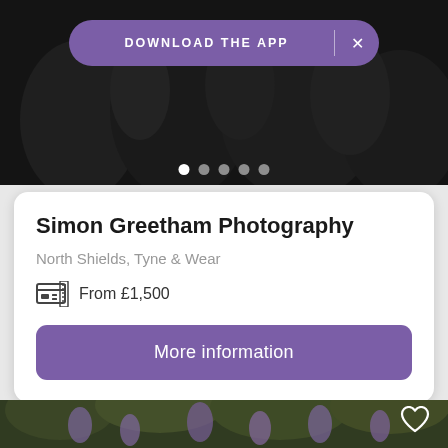[Figure (photo): Black and white photo of people at an event, partially visible at top of page]
DOWNLOAD THE APP
[Figure (infographic): Pagination dots: 5 dots with first one active/white]
Simon Greetham Photography
North Shields, Tyne & Wear
From £1,500
More information
[Figure (photo): Outdoor wedding photo with couple under purple wisteria flowers]